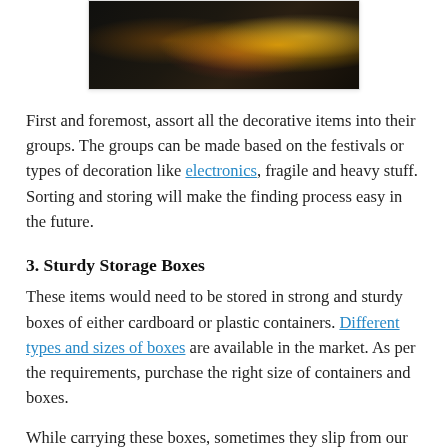[Figure (photo): Dark photograph showing tangled string lights with bokeh effect, warm orange and gold tones on a dark background, framed in a decorative frame.]
First and foremost, assort all the decorative items into their groups. The groups can be made based on the festivals or types of decoration like electronics, fragile and heavy stuff. Sorting and storing will make the finding process easy in the future.
3. Sturdy Storage Boxes
These items would need to be stored in strong and sturdy boxes of either cardboard or plastic containers. Different types and sizes of boxes are available in the market. As per the requirements, purchase the right size of containers and boxes.
While carrying these boxes, sometimes they slip from our hands and fall. Strongboxes will not break even after the fall